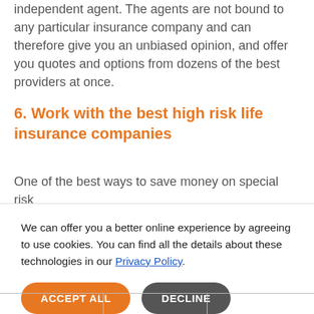independent agent. The agents are not bound to any particular insurance company and can therefore give you an unbiased opinion, and offer you quotes and options from dozens of the best providers at once.
6. Work with the best high risk life insurance companies
One of the best ways to save money on special risk
We can offer you a better online experience by agreeing to use cookies. You can find all the details about these technologies in our Privacy Policy.
ACCEPT ALL | DECLINE
|  |  |  |